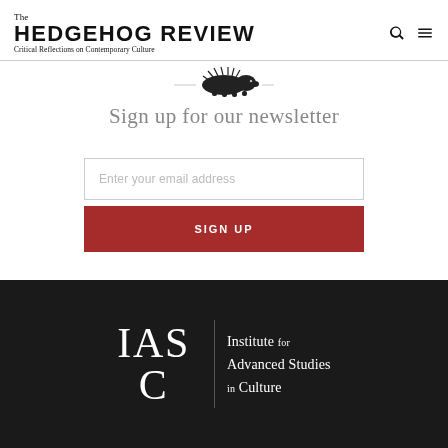The Hedgehog Review — Critical Reflections on Contemporary Culture
[Figure (illustration): Small decorative hedgehog illustration in black ink]
Sign up for our newsletter
Enter your email address
SIGN UP
[Figure (logo): IASC — Institute for Advanced Studies in Culture logo in white on dark background]